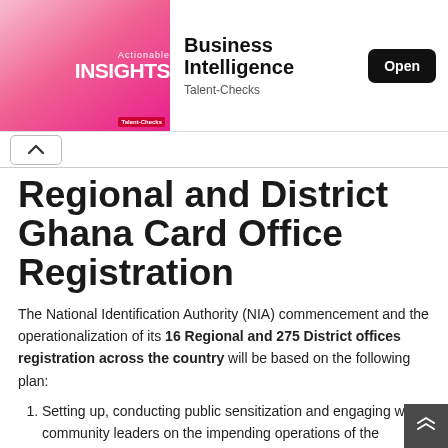[Figure (screenshot): Mobile app advertisement banner for 'Business Intelligence' by Talent-Checks, showing a person with 'Actionable INSIGHTS' text on a pink background, with an Open button.]
Regional and District Ghana Card Office Registration
The National Identification Authority (NIA) commencement and the operationalization of its 16 Regional and 275 District offices registration across the country will be based on the following plan:
Setting up, conducting public sensitization and engaging with community leaders on the impending operations of the Regional and District offices. This will also enable newly-appointed officers to familiarize themselves with their various communities and...